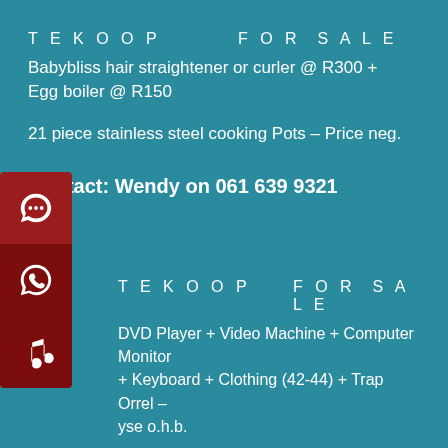T E K O O P   F O R  S A L E
Babybliss hair straightener or curler @ R300 + Egg boiler @ R150
21 piece stainless steel cooking Pots – Price neg.
Contact: Wendy on 061 639 9321
T E K O O P   F O R  S A L E
DVD Player + Video Machine + Computer Monitor + Keyboard + Clothing (42-44) + Trap Orrel – yse o.h.b.